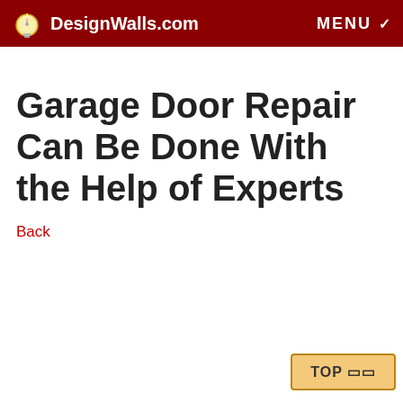DesignWalls.com  MENU
Garage Door Repair Can Be Done With the Help of Experts
Back
TOP ⬆